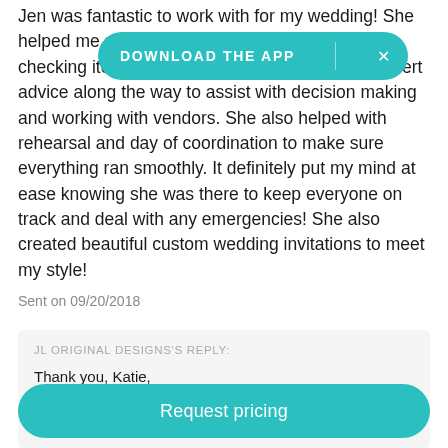Jen was fantastic to work with for my wedding! She helped me stay o[n track and ma]ke sure I was checking items off my to do list. She provided expert advice along the way to assist with decision making and working with vendors. She also helped with rehearsal and day of coordination to make sure everything ran smoothly. It definitely put my mind at ease knowing she was there to keep everyone on track and deal with any emergencies! She also created beautiful custom wedding invitations to meet my style!
[Figure (other): Teal/cyan pill-shaped app download banner with text 'DOWNLOAD THE APP' and an X close button]
Sent on 09/20/2018
JL ORIGINAL DESIGNS'S REPLY:
Thank you, Katie,
You looked beautiful on your wedding day. We wish you and
[Figure (other): Teal 'Request pricing' rounded button at the bottom of the page]